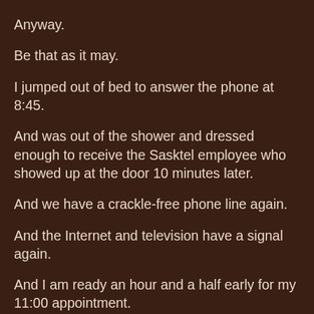Anyway.

Be that as it may.

I jumped out of bed to answer the phone at 8:45.

And was out of the shower and dressed enough to receive the Sasktel employee who showed up at the door 10 minutes later.

And we have a crackle-free phone line again.

And the Internet and television have a signal again.

And I am ready an hour and a half early for my 11:00 appointment.

And the Sasktel employee's ladder didn't slip in the mucky back alley or get struck by lightening, so I didn't have to run next door to phone 911 because, you remember, we had no dial tone. (this is how my mind works as I watch her trying to